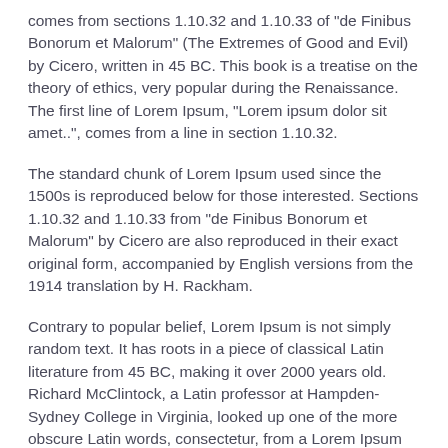comes from sections 1.10.32 and 1.10.33 of "de Finibus Bonorum et Malorum" (The Extremes of Good and Evil) by Cicero, written in 45 BC. This book is a treatise on the theory of ethics, very popular during the Renaissance. The first line of Lorem Ipsum, "Lorem ipsum dolor sit amet..", comes from a line in section 1.10.32.
The standard chunk of Lorem Ipsum used since the 1500s is reproduced below for those interested. Sections 1.10.32 and 1.10.33 from "de Finibus Bonorum et Malorum" by Cicero are also reproduced in their exact original form, accompanied by English versions from the 1914 translation by H. Rackham.
Contrary to popular belief, Lorem Ipsum is not simply random text. It has roots in a piece of classical Latin literature from 45 BC, making it over 2000 years old. Richard McClintock, a Latin professor at Hampden-Sydney College in Virginia, looked up one of the more obscure Latin words, consectetur, from a Lorem Ipsum passage, and going through the cites of the word in classical literature, discovered the undoubtable source. Lorem Ipsum comes from sections 1.10.32 and 1.10.33 of "de Finibus Bonorum